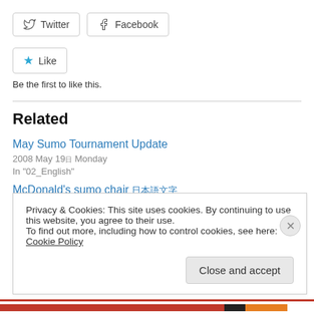[Figure (other): Twitter and Facebook share buttons side by side]
[Figure (other): Like button with star icon]
Be the first to like this.
Related
May Sumo Tournament Update
2008 May 190 Monday
In "02_English"
McDonald's sumo chair 日本語文字
Privacy & Cookies: This site uses cookies. By continuing to use this website, you agree to their use.
To find out more, including how to control cookies, see here: Cookie Policy